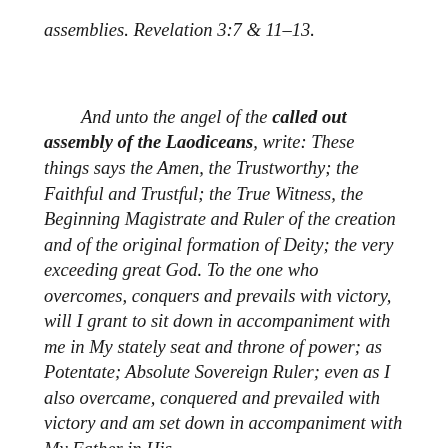assemblies. Revelation 3:7 & 11–13.
And unto the angel of the called out assembly of the Laodiceans, write: These things says the Amen, the Trustworthy; the Faithful and Trustful; the True Witness, the Beginning Magistrate and Ruler of the creation and of the original formation of Deity; the very exceeding great God. To the one who overcomes, conquers and prevails with victory, will I grant to sit down in accompaniment with me in My stately seat and throne of power; as Potentate; Absolute Sovereign Ruler; even as I also overcame, conquered and prevailed with victory and am set down in accompaniment with My Father in His